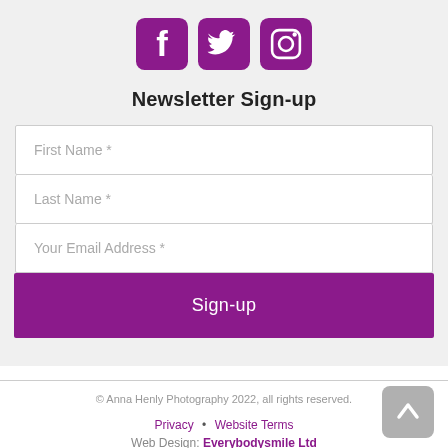[Figure (logo): Three social media icons: Facebook, Twitter, Instagram, all in purple with rounded square backgrounds]
Newsletter Sign-up
First Name *
Last Name *
Your Email Address *
Sign-up
© Anna Henly Photography 2022, all rights reserved.
Privacy • Website Terms
Web Design: Everybodysmile Ltd